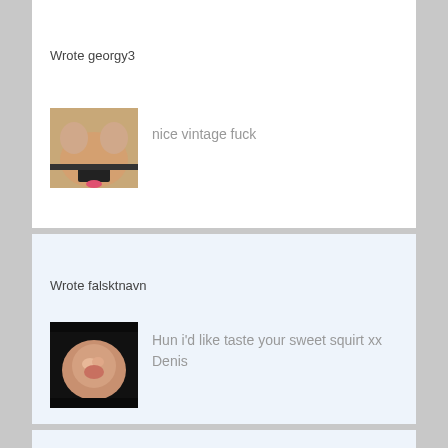Wrote georgy3
[Figure (photo): Thumbnail image in first comment card]
nice vintage fuck
Wrote falsktnavn
[Figure (photo): Thumbnail image in second comment card]
Hun i'd like taste your sweet squirt xx Denis